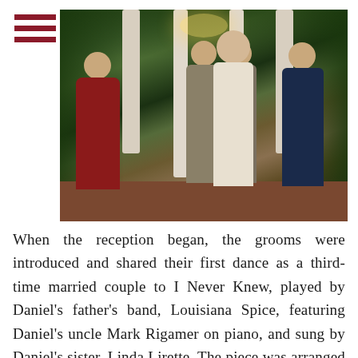[Figure (photo): Outdoor garden wedding ceremony at dusk. Two grooms in suits kissing under a white columned gazebo with a chandelier. A woman in a red dress stands to the left, an officiant in white robes and a woman in a navy dress stand to the right. The setting is lush with greenery and string lights. Brick pathway visible at bottom.]
When the reception began, the grooms were introduced and shared their first dance as a third-time married couple to I Never Knew, played by Daniel's father's band, Louisiana Spice, featuring Daniel's uncle Mark Rigamer on piano, and sung by Daniel's sister, Linda Lirette. The piece was arranged by Daniel's father, Chris Rig...